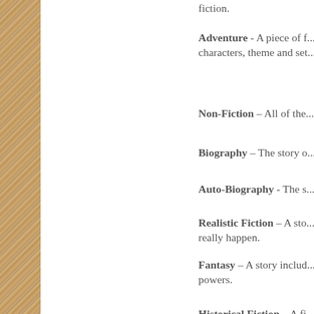fiction.
Adventure - A piece of f... characters, theme and set... nature
Non-Fiction – All of the...
Biography – The story o...
Auto-Biography - The s...
Realistic Fiction – A sto... could really happen.
Fantasy – A story includ... magical powers.
Historical Fiction – A fi... during a historical time.
Poetry – A verse written...
Myth – A myth is a m...